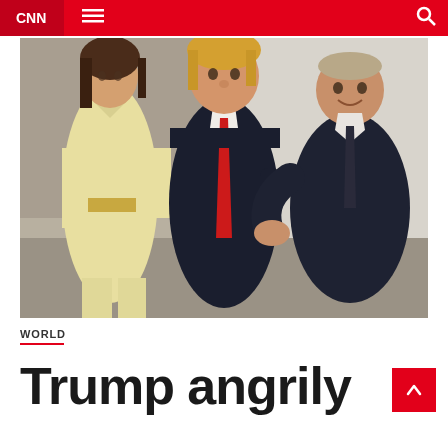CNN
[Figure (photo): Three people standing indoors: a woman in a pale yellow coat on the left, a man in a dark suit with a red tie in the center (Donald Trump), and a man in a dark suit on the right (Vladimir Putin), who is smiling and reaching out to touch the center man's arm.]
WORLD
Trump angrily claims the